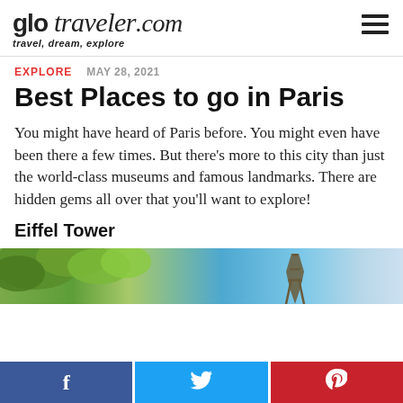glo traveler.com — travel, dream, explore
EXPLORE   MAY 28, 2021
Best Places to go in Paris
You might have heard of Paris before. You might even have been there a few times. But there's more to this city than just the world-class museums and famous landmarks. There are hidden gems all over that you'll want to explore!
Eiffel Tower
[Figure (photo): Photo of Paris with trees and Eiffel Tower visible against a blue sky]
[Figure (infographic): Social media sharing bar with Facebook, Twitter, and Pinterest buttons]